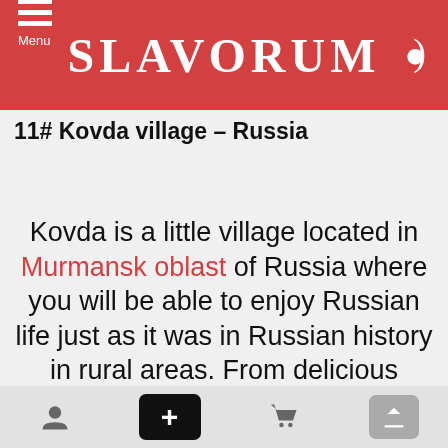SLAVORUM
11# Kovda village – Russia
Kovda is a little village located in Murmansk oblast of Russia where you will be able to enjoy Russian life just as it was in Russian history in rural areas. From delicious traditional meals, to wonderful green
[navigation bar: user icon, + button, cart icon, upload icon]